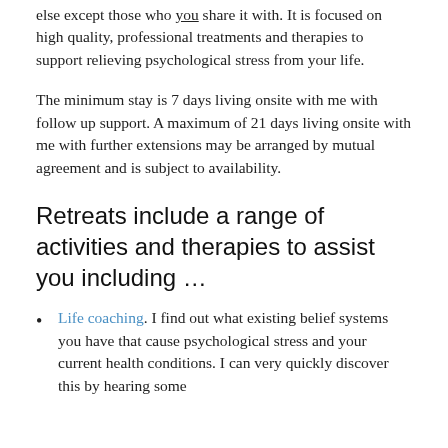else except those who you share it with.  It is focused on high quality, professional treatments and therapies to support relieving psychological stress from your life.
The minimum stay is 7 days living onsite with me with follow up support.  A maximum of 21 days living onsite with me with further extensions may be arranged by mutual agreement and is subject to availability.
Retreats include a range of activities and therapies to assist you including …
Life coaching.  I find out what existing belief systems you have that cause psychological stress and your current health conditions.  I can very quickly discover this by hearing some